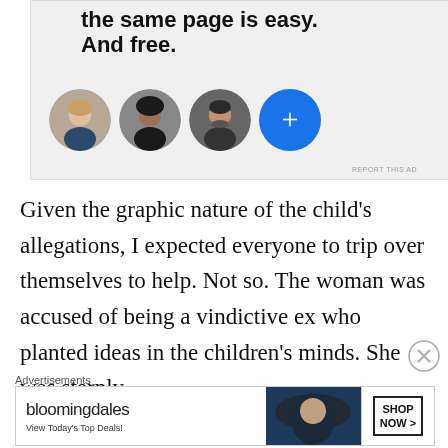[Figure (screenshot): Advertisement banner showing text 'Getting your team on the same page is easy. And free.' with three circular avatar photos and a blue plus-sign circle button on a light gray background.]
Given the graphic nature of the child's allegations, I expected everyone to trip over themselves to help. Not so. The woman was accused of being a vindictive ex who planted ideas in the children's minds. She was sternly
Advertisements
[Figure (screenshot): Bloomingdale's advertisement banner with logo text 'bloomingdales', subtext 'View Today's Top Deals!', an image of a woman in a wide-brim hat, and a 'SHOP NOW >' button.]